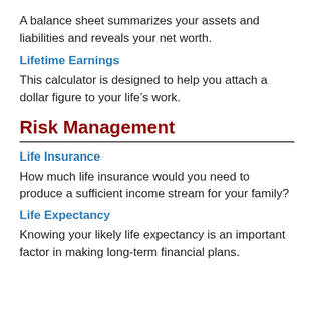A balance sheet summarizes your assets and liabilities and reveals your net worth.
Lifetime Earnings
This calculator is designed to help you attach a dollar figure to your life's work.
Risk Management
Life Insurance
How much life insurance would you need to produce a sufficient income stream for your family?
Life Expectancy
Knowing your likely life expectancy is an important factor in making long-term financial plans.